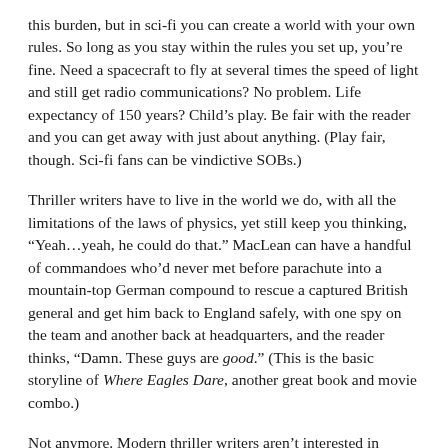this burden, but in sci-fi you can create a world with your own rules. So long as you stay within the rules you set up, you’re fine. Need a spacecraft to fly at several times the speed of light and still get radio communications? No problem. Life expectancy of 150 years? Child’s play. Be fair with the reader and you can get away with just about anything. (Play fair, though. Sci-fi fans can be vindictive SOBs.)
Thriller writers have to live in the world we do, with all the limitations of the laws of physics, yet still keep you thinking, “Yeah…yeah, he could do that.” MacLean can have a handful of commandoes who’d never met before parachute into a mountain-top German compound to rescue a captured British general and get him back to England safely, with one spy on the team and another back at headquarters, and the reader thinks, “Damn. These guys are good.” (This is the basic storyline of Where Eagles Dare, another great book and movie combo.)
Not anymore. Modern thriller writers aren’t interested in working around the suspension of disbelief; they’re writing for a public that will believe anything. I was asked to review such a book last week. It hit all the major food groups that make modern thrillers